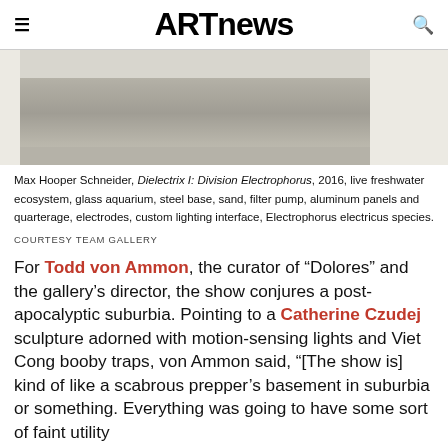ARTnews
[Figure (photo): Gallery installation photo showing a large rectangular aluminum panel sculpture with white gallery walls and gray flooring]
Max Hooper Schneider, Dielectrix I: Division Electrophorus, 2016, live freshwater ecosystem, glass aquarium, steel base, sand, filter pump, aluminum panels and quarterage, electrodes, custom lighting interface, Electrophorus electricus species.
COURTESY TEAM GALLERY
For Todd von Ammon, the curator of “Dolores” and the gallery’s director, the show conjures a post-apocalyptic suburbia. Pointing to a Catherine Czudej sculpture adorned with motion-sensing lights and Viet Cong booby traps, von Ammon said, “[The show is] kind of like a scabrous prepper’s basement in suburbia or something. Everything was going to have some sort of faint utility beyond aesthetics.” And elsewhere in Dolores, “The thing at the